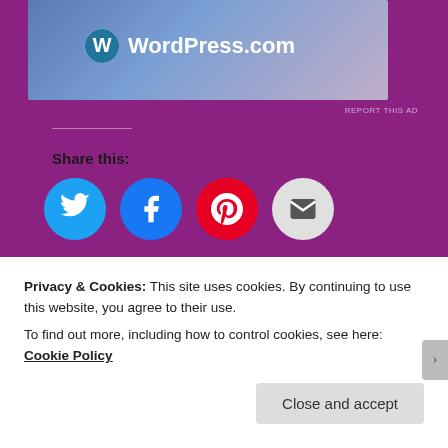[Figure (logo): WordPress.com advertisement banner with WordPress logo and text]
REPORT THIS AD
Share this:
[Figure (infographic): Social share buttons: Twitter (blue), Facebook (blue), Pinterest (red), Email (grey)]
Like
Be the first to like this.
Related
FOOOOOD, 'nuff said
Marathon Week
Privacy & Cookies: This site uses cookies. By continuing to use this website, you agree to their use.
To find out more, including how to control cookies, see here: Cookie Policy
Close and accept